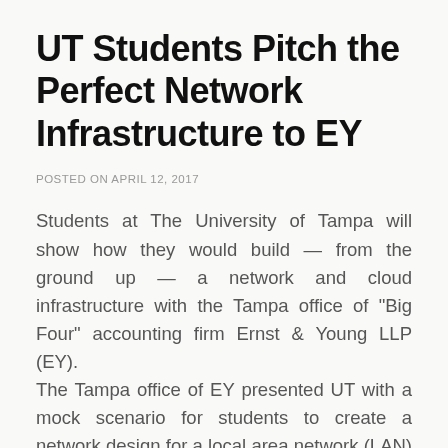UT Students Pitch the Perfect Network Infrastructure to EY
POSTED ON APRIL 12, 2017
Students at The University of Tampa will show how they would build — from the ground up — a network and cloud infrastructure with the Tampa office of "Big Four" accounting firm Ernst & Young LLP (EY). The Tampa office of EY presented UT with a mock scenario for students to create a network design for a local area network (LAN) in a fictionalized new office building. The students will pitch their network design solutions to EY and IT industry leaders who will select the best idea. The presentation is on